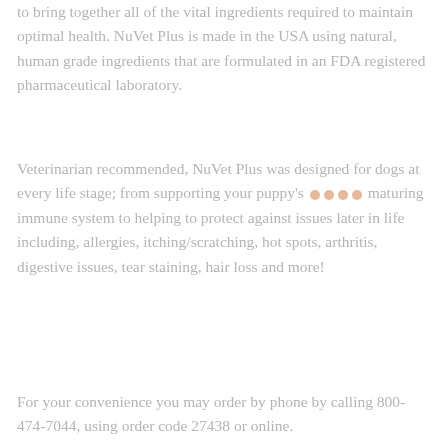to bring together all of the vital ingredients required to maintain optimal health. NuVet Plus is made in the USA using natural, human grade ingredients that are formulated in an FDA registered pharmaceutical laboratory.
Veterinarian recommended, NuVet Plus was designed for dogs at every life stage; from supporting your puppy's maturing immune system to helping to protect against issues later in life including, allergies, itching/scratching, hot spots, arthritis, digestive issues, tear staining, hair loss and more!
For your convenience you may order by phone by calling 800-474-7044, using order code 27438 or online.